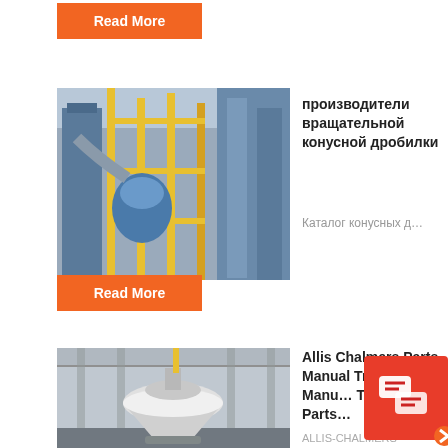Read More
[Figure (photo): Industrial facility with yellow scaffolding and large machinery, possibly a crushing or processing plant]
производители вращательной конусной дробилки
Каталог конусных д…
Read More
[Figure (photo): Indoor industrial facility showing a large cone crusher machine in white/grey]
Allis Chalmers Parts Manual Tractor Manual Tractor Parts
ALLIS-CHALMERS …
[Figure (other): Chat widget overlay icon with red background]